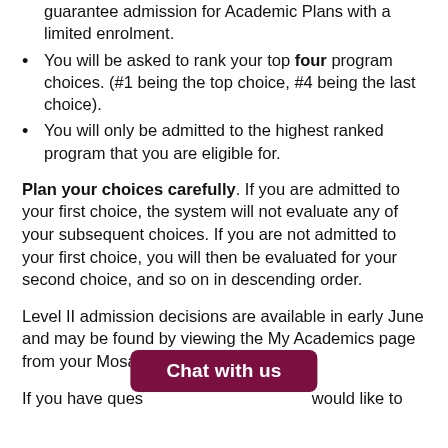guarantee admission for Academic Plans with a limited enrolment.
You will be asked to rank your top four program choices. (#1 being the top choice, #4 being the last choice).
You will only be admitted to the highest ranked program that you are eligible for.
Plan your choices carefully. If you are admitted to your first choice, the system will not evaluate any of your subsequent choices. If you are not admitted to your first choice, you will then be evaluated for your second choice, and so on in descending order.
Level II admission decisions are available in early June and may be found by viewing the My Academics page from your Mosaic Student Center.
If you have ques… would like to
[Figure (other): Chat with us button overlay in dark maroon/crimson color]